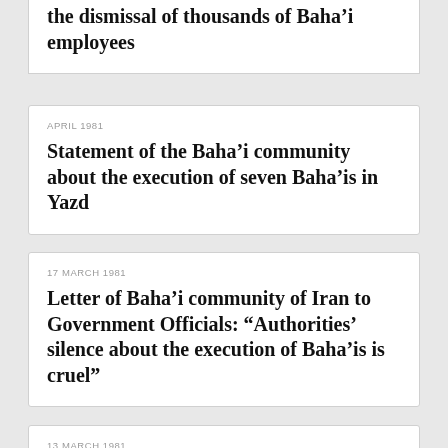the dismissal of thousands of Baha'i employees
APRIL 1981
Statement of the Baha’i community about the execution of seven Baha’is in Yazd
17 MARCH 1981
Letter of Baha’i community of Iran to Government Officials: “Authorities’ silence about the execution of Baha’is is cruel”
13 MARCH 1981
Statement of Baha’i community of Iran on Baha’i institutions
02 FEBRUARY 1981
Letter from Baha’i community to the Minister